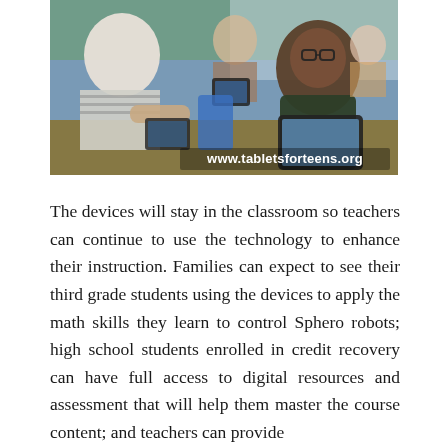[Figure (photo): Classroom photo showing students using tablets at desks. A girl wearing a white hijab and striped shirt is on the left, a boy with glasses wearing a dark green hoodie holds a tablet on the right, and other students are visible in the background. The website www.tabletsforteens.org is overlaid in the bottom right corner.]
The devices will stay in the classroom so teachers can continue to use the technology to enhance their instruction. Families can expect to see their third grade students using the devices to apply the math skills they learn to control Sphero robots; high school students enrolled in credit recovery can have full access to digital resources and assessment that will help them master the course content; and teachers can provide